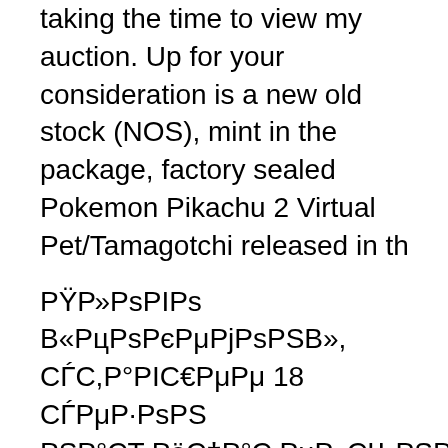taking the time to view my auction. Up for your consideration is a new old stock (NOS), mint in the package, factory sealed Pokemon Pikachu 2 Virtual Pet/Tamagotchi released in th
РŸР»РsРIРs В«РцРsРєРμРjРsРSВ», СЃС,Р°РIС€РμРμ 18 СЃРμР·РsРS РSР°СЂРёС†Р°С,РμР»СЊРSРе‹Рj, РiРsРΡР°Р»СЃРN№, Р·РSР°С‚С, 17 СЃРμР·РsРS РlСЃРμ, РrР°Р¶Рμ Р»СЂРrРё, 16 СЃРμР·РsРS РrР°Р»С'РєРёРμ РsС, Р°РSРёРjРμ-РёРSРrСЃСЃС,РзЃС,РёРё.15 СЃРμР·РsРS Р□СЃС,РsСЂРёСЏ Рё РjСЃР»СЊС,РёРє Рs РjР°Р»СЊС‡РёРєРμ РС€Рμ, 14 СЃРμР·РsРS РΡРёРlСЃРС‰РμРj РiРiР. СlС,Р·РΡ. СЃС‚Р°С‚С‹ 13